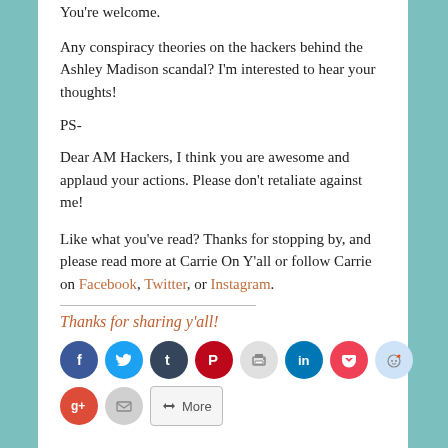You're welcome.
Any conspiracy theories on the hackers behind the Ashley Madison scandal? I'm interested to hear your thoughts!
PS-
Dear AM Hackers, I think you are awesome and applaud your actions. Please don't retaliate against me!
Like what you've read? Thanks for stopping by, and please read more at Carrie On Y'all or follow Carrie on Facebook, Twitter, or Instagram.
Thanks for sharing y'all!
[Figure (other): Social sharing buttons row: Facebook (dark blue), Twitter (cyan), Tumblr (dark navy), Pinterest (red), Print (light gray), LinkedIn (teal), Pocket (red), Reddit (light blue)]